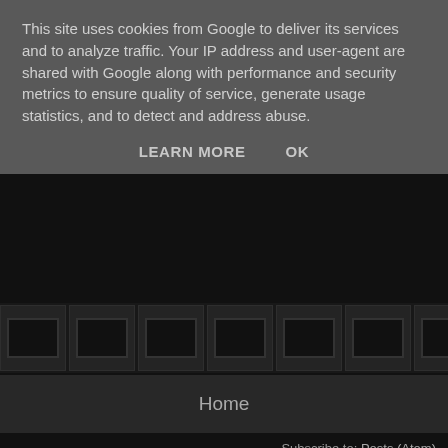This site uses cookies from Google to deliver its services and to analyze traffic. Your IP address and user-agent are shared with Google along with performance and security metrics to ensure quality of service, generate usage statistics, and to detect and address abuse.
LEARN MORE    OK
[Figure (screenshot): Dark background area with thumbnail image grid strip showing gaming-related thumbnail previews in dark tones]
Home
Subscribe to: Posts (Atom)